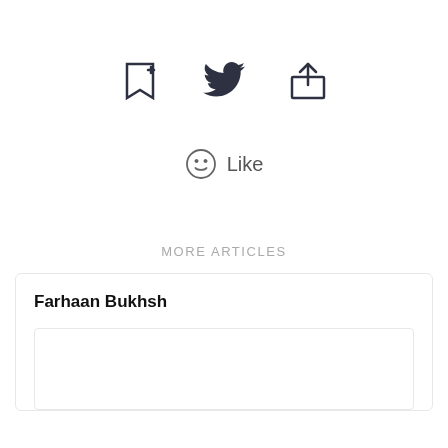[Figure (infographic): Three action icons in a row: bookmark-plus, Twitter bird, and share/upload icon, rendered in dark navy color]
[Figure (infographic): Smiley face circle icon followed by the word 'Like' in gray]
MORE ARTICLES
Farhaan Bukhsh
[Figure (illustration): Empty card inner image placeholder box]